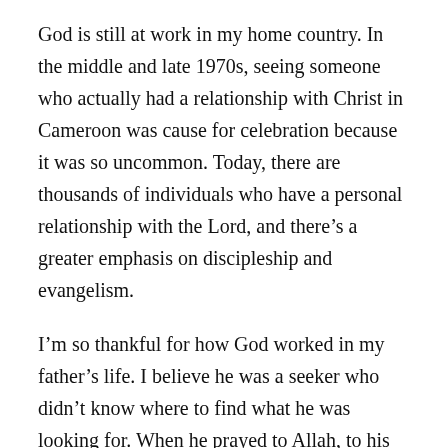God is still at work in my home country. In the middle and late 1970s, seeing someone who actually had a relationship with Christ in Cameroon was cause for celebration because it was so uncommon. Today, there are thousands of individuals who have a personal relationship with the Lord, and there's a greater emphasis on discipleship and evangelism.
I'm so thankful for how God worked in my father's life. I believe he was a seeker who didn't know where to find what he was looking for. When he prayed to Allah, to his ancestors, to the moon or when the owl cried in the middle of the night, I believe his prayers were desperate cries to be heard in the divine realms.
When I came back to the village after one year in the